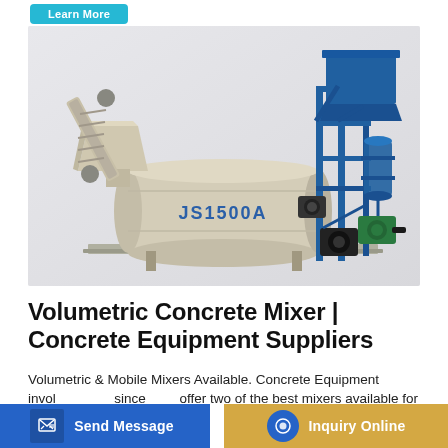[Figure (photo): JS1500A volumetric concrete mixer machine — a large industrial twin-shaft concrete mixer with blue steel frame, hopper, conveyor belt, and beige/cream colored drum labeled JS1500A, mounted on a platform.]
Volumetric Concrete Mixer | Concrete Equipment Suppliers
Volumetric & Mobile Mixers Available. Concrete Equipment invol since offer two of the best mixers available for remote locations. As
Send Message
Inquiry Online